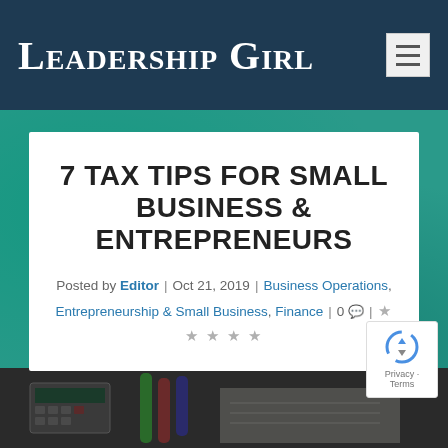Leadership Girl
7 TAX TIPS FOR SMALL BUSINESS & ENTREPRENEURS
Posted by Editor | Oct 21, 2019 | Business Operations, Entrepreneurship & Small Business, Finance | 0 | ☆☆☆☆☆
[Figure (photo): Bottom strip showing a photo of financial/tax related items including a calculator and colored markers/pens on a dark surface]